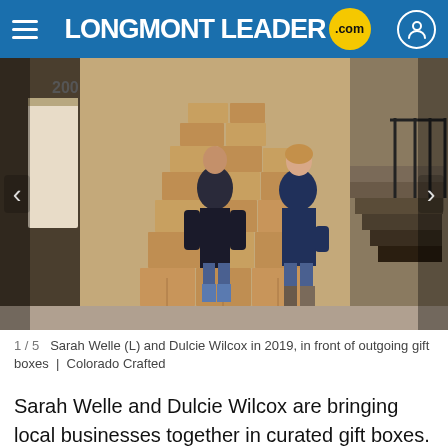LONGMONT LEADER .com
[Figure (photo): Two women standing in front of a large stack of cardboard boxes outside a building numbered 200. Both are smiling at the camera.]
1 / 5   Sarah Welle (L) and Dulcie Wilcox in 2019, in front of outgoing gift boxes  |  Colorado Crafted
Sarah Welle and Dulcie Wilcox are bringing local businesses together in curated gift boxes.